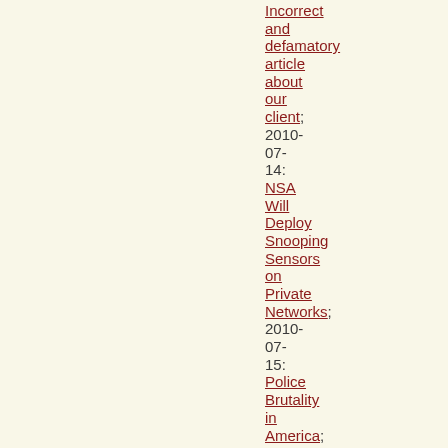Incorrect and defamatory article about our client; 2010-07-14: NSA Will Deploy Snooping Sensors on Private Networks; 2010-07-15: Police Brutality in America; 2010-07-16: Why Can't